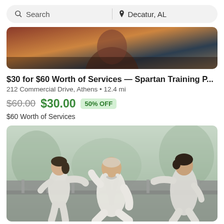Search | Decatur, AL
[Figure (photo): Partial photo of a person, cropped at top of listing card]
$30 for $60 Worth of Services — Spartan Training P...
212 Commercial Drive, Athens • 12.4 mi
$60.00  $30.00  50% OFF
$60 Worth of Services
[Figure (photo): Three people practicing tai chi outdoors in white clothing, with an older bearded man in the center, a woman on the left, and a younger person on the right, set against a misty river/bridge background]